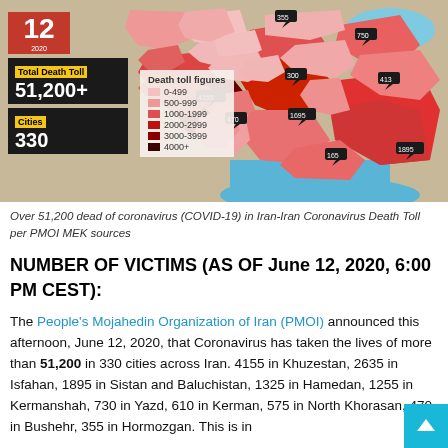[Figure (map): Map of Iran showing COVID-19 death toll by province with color coding. Includes info boxes showing Total Death Toll 51,200+, Cities 330, and a legend for death toll figures ranging from 0-499 (light pink) to 4000+ (dark maroon). Province labels include figures like 4155 in Khuzestan, 300, 750, 355, 413, 1695, 470, 165, 1895.]
Over 51,200 dead of coronavirus (COVID-19) in Iran-Iran Coronavirus Death Toll per PMOI MEK sources
NUMBER OF VICTIMS (AS OF June 12, 2020, 6:00 PM CEST):
The People's Mojahedin Organization of Iran (PMOI) announced this afternoon, June 12, 2020, that Coronavirus has taken the lives of more than 51,200 in 330 cities across Iran. 4155 in Khuzestan, 2635 in Isfahan, 1895 in Sistan and Baluchistan, 1325 in Hamedan, 1255 in Kermanshah, 730 in Yazd, 610 in Kerman, 575 in North Khorasan, 470 in Bushehr, 355 in Hormozgan. This is in